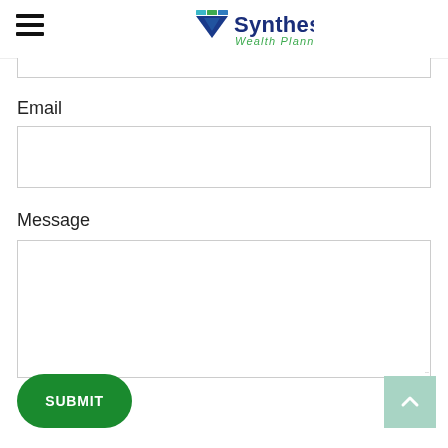[Figure (logo): Synthesis Wealth Planning logo with triangular icon in blue and green, company name in dark blue and green italic text]
Email
Message
SUBMIT